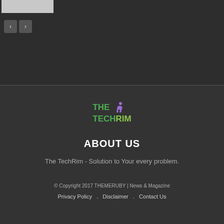[Figure (screenshot): Gray thumbnail image placeholder in top-left corner]
[Figure (other): Navigation previous and next arrow buttons]
[Figure (logo): The TechRim logo with green text and a figure illustration]
ABOUT US
The TechRim - Solution to Your every problem.
© Copyright 2017 THEMERUBY | News & Magazine
Privacy Policy   .   Disclaimer   .   Contact Us